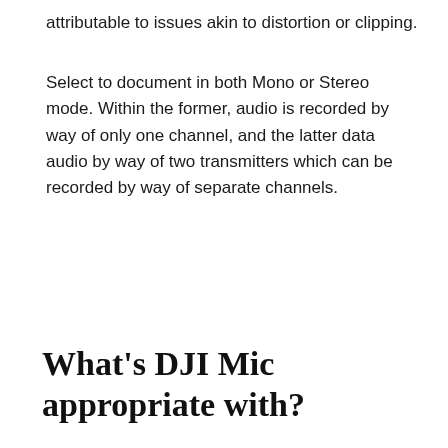attributable to issues akin to distortion or clipping.
Select to document in both Mono or Stereo mode. Within the former, audio is recorded by way of only one channel, and the latter data audio by way of two transmitters which can be recorded by way of separate channels.
What's DJI Mic appropriate with?
Intel Macs running in full-screen...